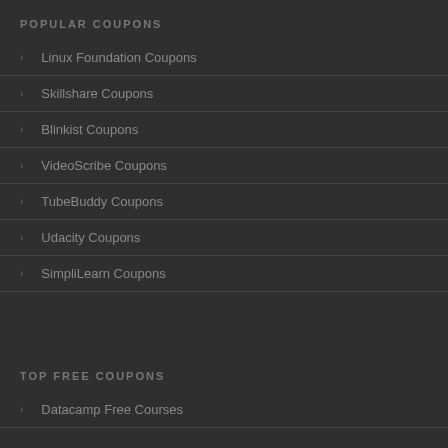POPULAR COUPONS
Linux Foundation Coupons
Skillshare Coupons
Blinkist Coupons
VideoScribe Coupons
TubeBuddy Coupons
Udacity Coupons
SimpliLearn Coupons
TOP FREE COUPONS
Datacamp Free Courses